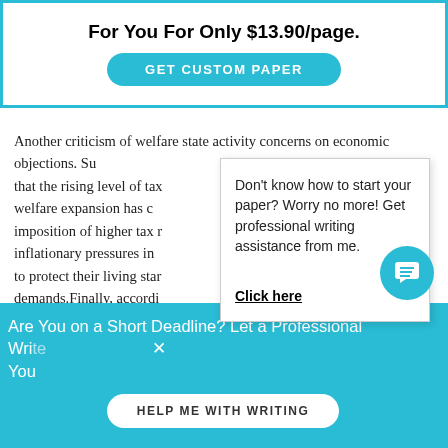For You For Only $13.90/page.
GET CUSTOM PAPER
Another criticism of welfare state activity concerns on economic objections. Su... e that the rising level of tax... welfare expansion has c... imposition of higher tax r... inflationary pressures in... to protect their living star... demands.Finally, accordi...
Don't know how to start your paper? Worry no more! Get professional writing assistance from me.

Click here
Are You on a Short Deadline? Let a Professional Wri... You
HELP ME WITH WRITING